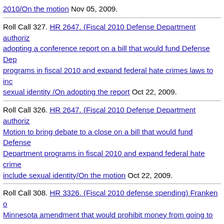2010/On the motion Nov 05, 2009.
Roll Call 327. HR 2647. (Fiscal 2010 Defense Department authoriz... adopting a conference report on a bill that would fund Defense Dep... programs in fiscal 2010 and expand federal hate crimes laws to inc... sexual identity /On adopting the report Oct 22, 2009.
Roll Call 326. HR 2647. (Fiscal 2010 Defense Department authoriz... Motion to bring debate to a close on a bill that would fund Defense Department programs in fiscal 2010 and expand federal hate crime... include sexual identity/On the motion Oct 22, 2009.
Roll Call 308. HR 3326. (Fiscal 2010 defense spending) Franken o... Minnesota amendment that would prohibit money from going to any... contractor that requires its employees to sign contracts waiving the... sue the contractor for sexual assault or harassment/On agreeing to... amendment Oct 06, 2009.
Roll Call 238. S Con Res 13. (Fiscal 2010 Defense authorization) K... Massachusetts amendment that would require the president to rep... Congress with an examination of whether North Korea should be lis... state sponsor of terrorism/On agreeing to the amendment Jul 22, 2...
Roll Call 233. S 1390. (Fiscal 2010 Defense authorization) Motion t...